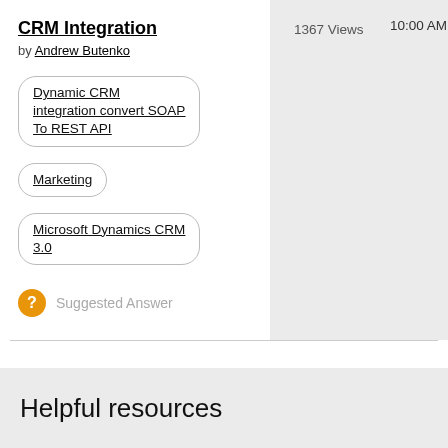CRM Integration
by Andrew Butenko
1367 Views
10:00 AM
Dynamic CRM integration convert SOAP To REST API
Marketing
Microsoft Dynamics CRM 3.0
Suggested Answer
Helpful resources